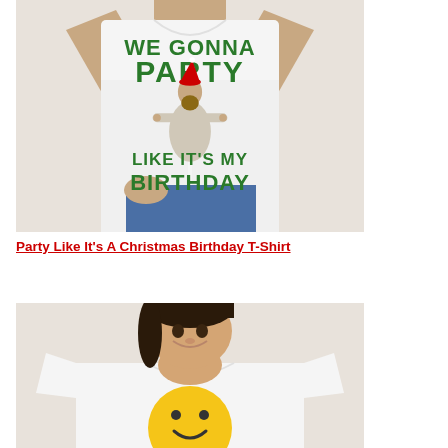[Figure (photo): A man wearing a white t-shirt with green text 'WE GONNA PARTY LIKE IT'S MY BIRTHDAY' and an illustration of Jesus wearing a Santa hat, on a beige/grey background.]
Party Like It's A Christmas Birthday T-Shirt
[Figure (photo): A smiling young woman wearing a white t-shirt with a yellow smiley face design, on a beige/grey background. Only the upper portion of the shirt is visible.]